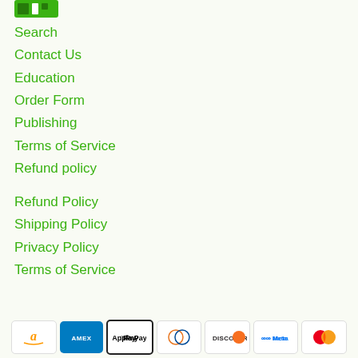[Figure (logo): Green logo/icon at top left]
Search
Contact Us
Education
Order Form
Publishing
Terms of Service
Refund policy
Refund Policy
Shipping Policy
Privacy Policy
Terms of Service
[Figure (other): Payment method icons: Amazon, Amex, Apple Pay, Diners Club, Discover, Meta, Mastercard]